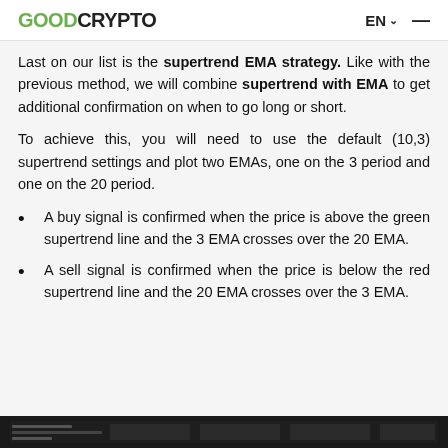GOODCRYPTO  EN  ☰
Last on our list is the supertrend EMA strategy. Like with the previous method, we will combine supertrend with EMA to get additional confirmation on when to go long or short.
To achieve this, you will need to use the default (10,3) supertrend settings and plot two EMAs, one on the 3 period and one on the 20 period.
A buy signal is confirmed when the price is above the green supertrend line and the 3 EMA crosses over the 20 EMA.
A sell signal is confirmed when the price is below the red supertrend line and the 20 EMA crosses over the 3 EMA.
[Figure (screenshot): Bottom strip of a chart screenshot, dark background with chart data visible]